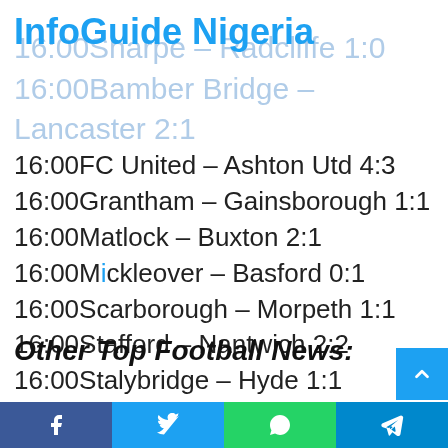InfoGuide Nigeria
16:00Sharpe – Radcliffe 1:0
16:00Bamber Bridge – Lancaster 2:1
16:00FC United – Ashton Utd 4:3
16:00Grantham – Gainsborough 1:1
16:00Matlock – Buxton 2:1
16:00Mickleover – Basford 0:1
16:00Scarborough – Morpeth 1:1
16:00Stafford – Nantwich 2:2
16:00Stalybridge – Hyde 1:1
16:00Whitby – South Shields 2:2
16:00Witton – Warrington 1:4
Other Top Football News: